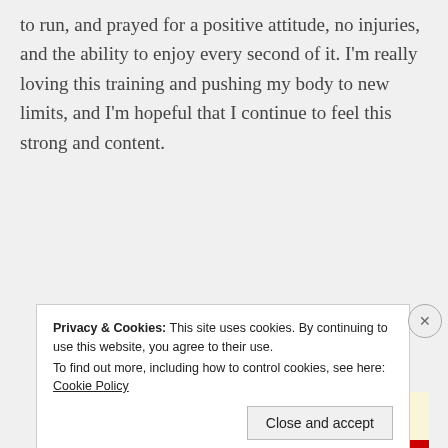to run, and prayed for a positive attitude, no injuries, and the ability to enjoy every second of it. I'm really loving this training and pushing my body to new limits, and I'm hopeful that I continue to feel this strong and content.
Advertisements
[Figure (screenshot): Advertisement banner with a logo icon, 'P2' label, and bold text 'Getting your team on the']
[Figure (screenshot): Partial image with light yellow background showing italic text 'life is' in a serif font]
Privacy & Cookies: This site uses cookies. By continuing to use this website, you agree to their use.
To find out more, including how to control cookies, see here: Cookie Policy
Close and accept